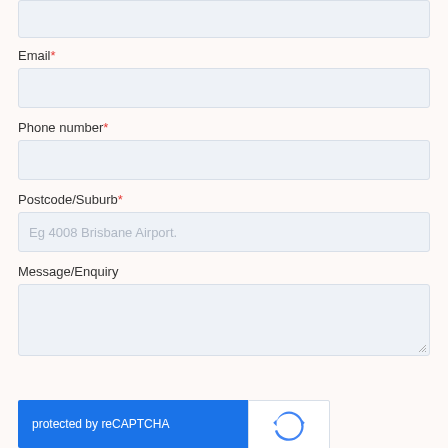[Figure (screenshot): Top portion of a web form input box (cropped at top)]
Email*
[Figure (screenshot): Empty email input field]
Phone number*
[Figure (screenshot): Empty phone number input field]
Postcode/Suburb*
[Figure (screenshot): Postcode/Suburb input field with placeholder text: Eg 4008 Brisbane Airport.]
Message/Enquiry
[Figure (screenshot): Empty textarea for message/enquiry]
[Figure (screenshot): reCAPTCHA widget: blue section with text 'protected by reCAPTCHA' and white section with Google reCAPTCHA logo]